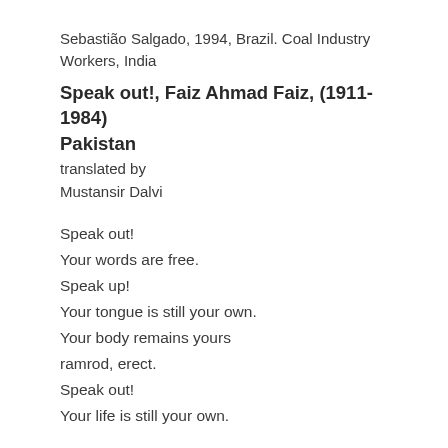Sebastião Salgado, 1994, Brazil. Coal Industry Workers, India
Speak out!, Faiz Ahmad Faiz, (1911-1984) Pakistan
translated by
Mustansir Dalvi
Speak out!
Your words are free.
Speak up!
Your tongue is still your own.
Your body remains yours
ramrod, erect.
Speak out!
Your life is still your own.